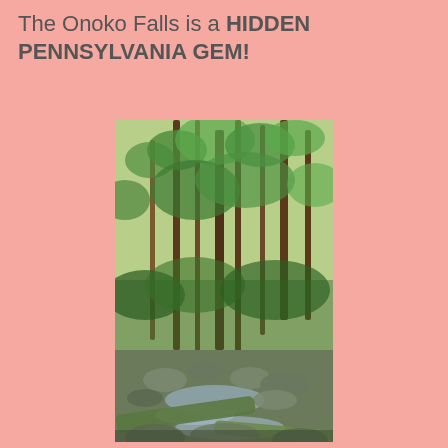The Onoko Falls is a HIDDEN PENNSYLVANIA GEM!
[Figure (photo): A forest scene with tall thin trees and a rocky stream flowing through the foreground with mossy logs, lush green foliage above.]